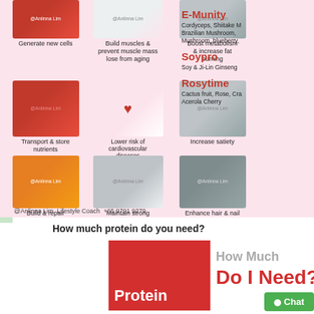[Figure (infographic): Pink infographic showing protein benefits with images: Generate new cells (skin cells), Build muscles & prevent muscle mass lose from aging (heart), Boost metabolism & increase fat burning (scale), Transport & store nutrients (raw meat), Lower risk of cardiovascular diseases (legs), Increase satiety (woman), Build & repair tissues, Maintain strong bones, Enhance hair & nail growth. Right side lists products: E-Munity (Cordyceps, Shiitake Mushroom, Brazilian Mushroom, Mushroom, blueberry), Soypro (Soy & Ji-Lin Ginseng), Rosytime (Cactus fruit, Rose, Cranberry(?), Acerola Cherry). Footer: @Anlinna Lim Lifestyle Coach +65 9791 9279]
How much protein do you need?
[Figure (infographic): Red card with white text 'Protein' and gray/red text 'How Much Do I Need?' with a green Chat button]